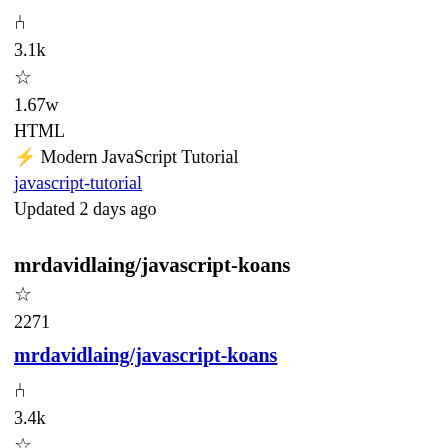⑂
3.1k
☆
1.67w
HTML
⚡ Modern JavaScript Tutorial
javascript-tutorial
Updated 2 days ago
mrdavidlaing/javascript-koans
☆
2271
mrdavidlaing/javascript-koans
⑂
3.4k
☆
2.3k
JavaScript
⚡ Koans to learn Javascript
mrdavidlaing